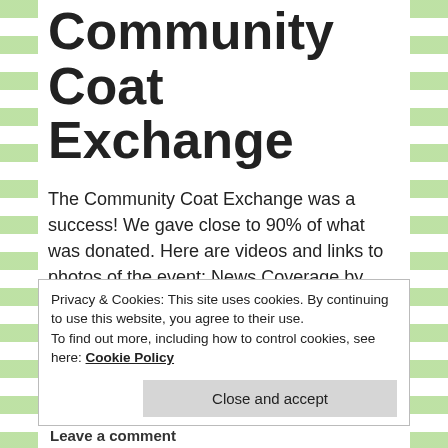Community Coat Exchange
The Community Coat Exchange was a success! We gave close to 90% of what was donated. Here are videos and links to photos of the event: News Coverage by KSL TV – Fourth annual Community Coat Exchange helps Utahns stay warm November 27th SALT LAKE CITY -- As the weather gets colder, a lot of … Continue reading
Privacy & Cookies: This site uses cookies. By continuing to use this website, you agree to their use.
To find out more, including how to control cookies, see here: Cookie Policy
Close and accept
Leave a comment